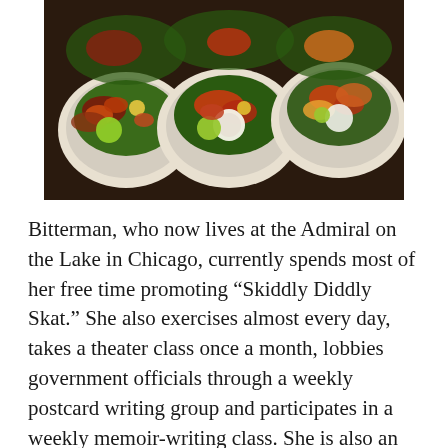[Figure (photo): Overhead photo of three large bowls filled with colorful salad bowls containing kale, cherry tomatoes, red cabbage, carrots, lime wedges, grains, and dressing cups, arranged on a dark surface.]
Bitterman, who now lives at the Admiral on the Lake in Chicago, currently spends most of her free time promoting “Skiddly Diddly Skat.” She also exercises almost every day, takes a theater class once a month, lobbies government officials through a weekly postcard writing group and participates in a weekly memoir-writing class. She is also an avid theatergoer, and not just because her son Adam is a busy actor in the Chicago